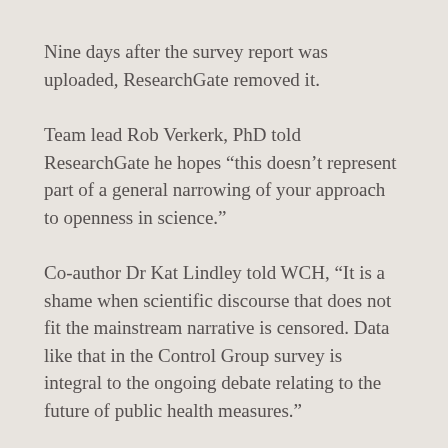Nine days after the survey report was uploaded, ResearchGate removed it.
Team lead Rob Verkerk, PhD told ResearchGate he hopes “this doesn’t represent part of a general narrowing of your approach to openness in science.”
Co-author Dr Kat Lindley told WCH, “It is a shame when scientific discourse that does not fit the mainstream narrative is censored. Data like that in the Control Group survey is integral to the ongoing debate relating to the future of public health measures.”